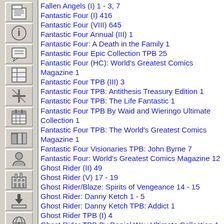Fallen Angels (I) 1 - 3, 7
Fantastic Four (I) 416
Fantastic Four (VIII) 645
Fantastic Four Annual (III) 1
Fantastic Four: A Death in the Family 1
Fantastic Four Epic Collection TPB 25
Fantastic Four (HC): World's Greatest Comics Magazine 1
Fantastic Four TPB (III) 3
Fantastic Four TPB: Antithesis Treasury Edition 1
Fantastic Four TPB: The Life Fantastic 1
Fantastic Four TPB By Waid and Wieringo Ultimate Collection 1
Fantastic Four TPB: The World's Greatest Comics Magazine 1
Fantastic Four Visionaries TPB: John Byrne 7
Fantastic Four: World's Greatest Comics Magazine 12
Ghost Rider (II) 49
Ghost Rider (V) 17 - 19
Ghost Rider/Blaze: Spirits of Vengeance 14 - 15
Ghost Rider: Danny Ketch 1 - 5
Ghost Rider: Danny Ketch TPB: Addict 1
Ghost Rider TPB (I) 4
Ghost Rider TPB By Daniel Way Ultimate Collection 1
Ghost Rider TPB: The War for Heaven 2
G.I. Joe A Real American Hero • G.I. Joe starring Snake-Eyes 80
Giant-Size Chillers (II) 1
Giant-Size Man-Thing 5